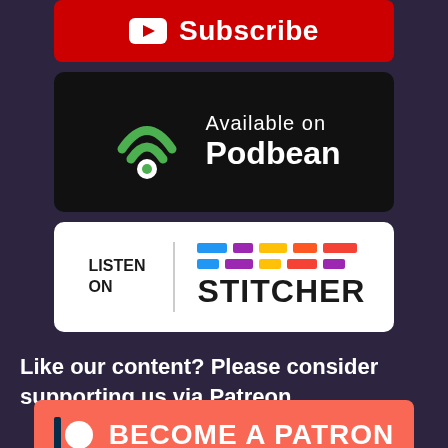[Figure (logo): YouTube Subscribe button - red rounded rectangle with play icon and 'Subscribe' text]
[Figure (logo): Podbean podcast platform badge - black rounded rectangle with green wifi/Podbean icon and 'Available on Podbean' text]
[Figure (logo): Stitcher podcast platform badge - white rounded rectangle with 'LISTEN ON STITCHER' text and colorful bar pattern]
Like our content? Please consider supporting us via Patreon
[Figure (logo): Patreon 'Become a Patron' button - coral/red-orange rounded rectangle with Patreon icon and bold white text]